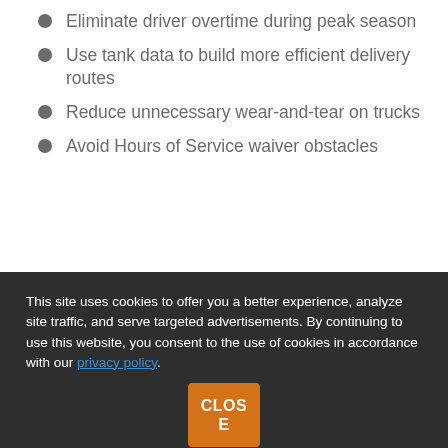Eliminate driver overtime during peak season
Use tank data to build more efficient delivery routes
Reduce unnecessary wear-and-tear on trucks
Avoid Hours of Service waiver obstacles
This site uses cookies to offer you a better experience, analyze site traffic, and serve targeted advertisements. By continuing to use this website, you consent to the use of cookies in accordance with our privacy policy.
CLOSE